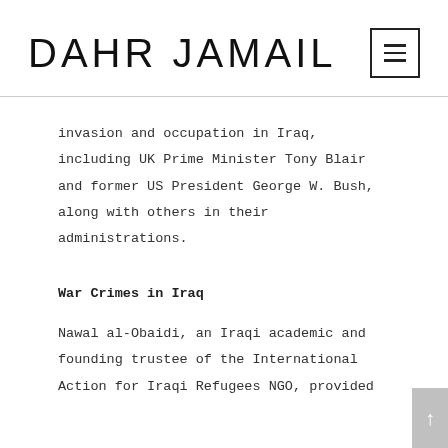DAHR JAMAIL
invasion and occupation in Iraq, including UK Prime Minister Tony Blair and former US President George W. Bush, along with others in their administrations.
War Crimes in Iraq
Nawal al-Obaidi, an Iraqi academic and founding trustee of the International Action for Iraqi Refugees NGO, provided